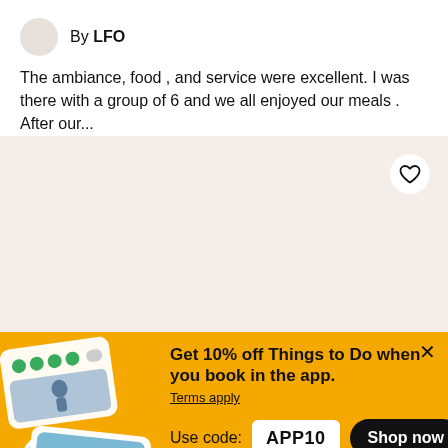By LFO
The ambiance, food , and service were excellent. I was there with a group of 6 and we all enjoyed our meals . After our...
[Figure (infographic): Beige/tan background section with a circular heart/favorite button in white circle at top right]
[Figure (infographic): Yellow promotional banner with app screenshots showing TripAdvisor interface and travel photos. Close X button top right. Text: Get 10% off Things to Do when you book in the app. Terms apply. Use code: APP10. Shop now button.]